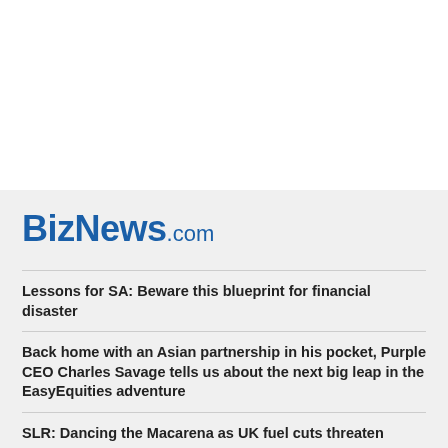BizNews.com
Lessons for SA: Beware this blueprint for financial disaster
Back home with an Asian partnership in his pocket, Purple CEO Charles Savage tells us about the next big leap in the EasyEquities adventure
SLR: Dancing the Macarena as UK fuel cuts threaten